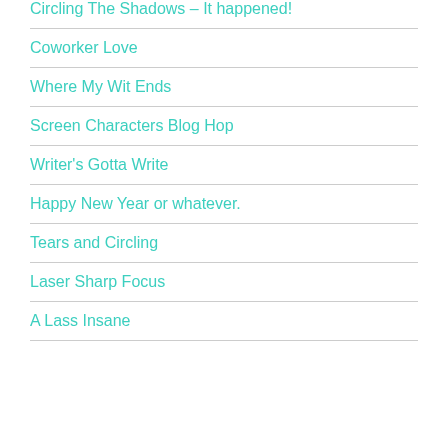Circling The Shadows – It happened!
Coworker Love
Where My Wit Ends
Screen Characters Blog Hop
Writer's Gotta Write
Happy New Year or whatever.
Tears and Circling
Laser Sharp Focus
A Lass Insane